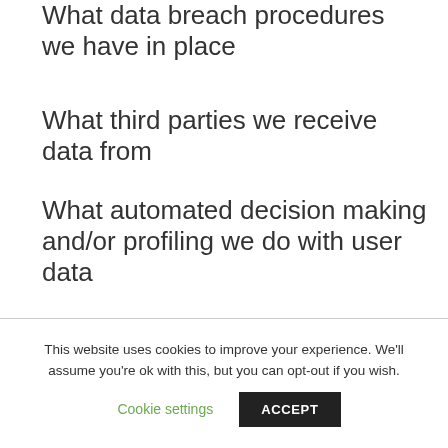What data breach procedures we have in place
What third parties we receive data from
What automated decision making and/or profiling we do with user data
Industry regulatory disclosure requirements
This website uses cookies to improve your experience. We'll assume you're ok with this, but you can opt-out if you wish.
Cookie settings
ACCEPT